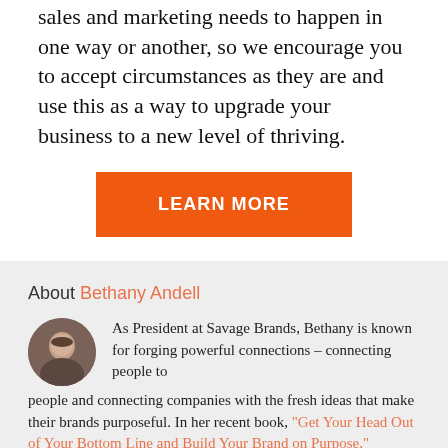sales and marketing needs to happen in one way or another, so we encourage you to accept circumstances as they are and use this as a way to upgrade your business to a new level of thriving.
[Figure (other): Orange call-to-action button with white bold text reading LEARN MORE]
About Bethany Andell
[Figure (photo): Circular headshot photo of Bethany Andell]
As President at Savage Brands, Bethany is known for forging powerful connections – connecting people to people and connecting companies with the fresh ideas that make their brands purposeful. In her recent book, "Get Your Head Out of Your Bottom Line and Build Your Brand on Purpose," Bethany conveys to business